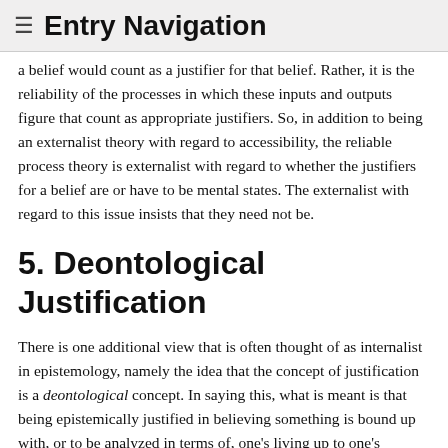≡ Entry Navigation
a belief would count as a justifier for that belief. Rather, it is the reliability of the processes in which these inputs and outputs figure that count as appropriate justifiers. So, in addition to being an externalist theory with regard to accessibility, the reliable process theory is externalist with regard to whether the justifiers for a belief are or have to be mental states. The externalist with regard to this issue insists that they need not be.
5. Deontological Justification
There is one additional view that is often thought of as internalist in epistemology, namely the idea that the concept of justification is a deontological concept. In saying this, what is meant is that being epistemically justified in believing something is bound up with, or to be analyzed in terms of, one's living up to one's intellectual duties or responsibilities. We can easily think of cases where justification and obligation seem to be closely connected. When a scientist runs an elaborate experiment